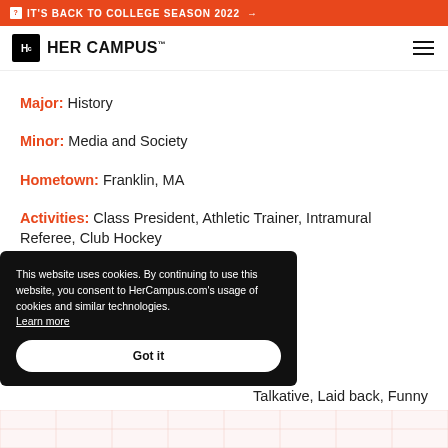IT'S BACK TO COLLEGE SEASON 2022 →
[Figure (logo): Her Campus logo with Hc icon and wordmark]
Major: History
Minor: Media and Society
Hometown: Franklin, MA
Activities: Class President, Athletic Trainer, Intramural Referee, Club Hockey
This website uses cookies. By continuing to use this website, you consent to HerCampus.com's usage of cookies and similar technologies. Learn more
Talkative, Laid back, Funny